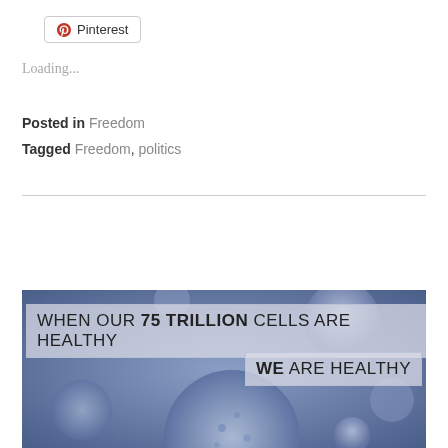[Figure (other): Pinterest share button with Pinterest logo icon]
Loading...
Posted in Freedom
Tagged Freedom, politics
[Figure (infographic): Medical/science infographic showing blue cell imagery with text overlay: 'WHEN OUR 75 TRILLION CELLS ARE HEALTHY' and 'WE ARE HEALTHY']